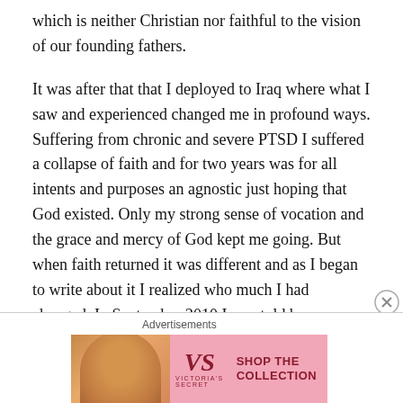which is neither Christian nor faithful to the vision of our founding fathers.
It was after that that I deployed to Iraq where what I saw and experienced changed me in profound ways. Suffering from chronic and severe PTSD I suffered a collapse of faith and for two years was for all intents and purposes an agnostic just hoping that God existed. Only my strong sense of vocation and the grace and mercy of God kept me going. But when faith returned it was different and as I began to write about it I realized who much I had changed. In September 2010 I was told by my Bishop that I needed to leave the church because I was “too liberal.”
Advertisements
[Figure (photo): Victoria's Secret advertisement banner showing a woman's face on the left, the VS logo in the center, 'SHOP THE COLLECTION' text, and a 'SHOP NOW' button on the right, on a pink background.]